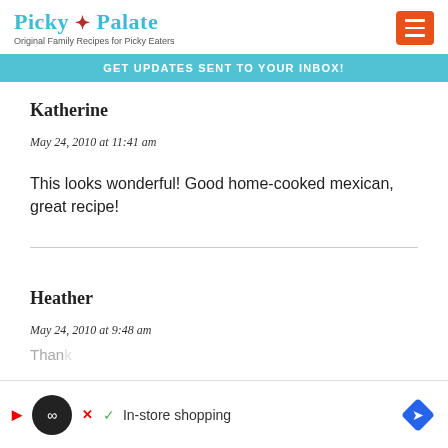Picky Palate — Original Family Recipes for Picky Eaters
GET UPDATES SENT TO YOUR INBOX!
Katherine
May 24, 2010 at 11:41 am
This looks wonderful! Good home-cooked mexican, great recipe!
Heather
May 24, 2010 at 9:48 am
[Figure (screenshot): Advertisement bar at bottom: circular icon with play and infinity symbol, checkmark, 'In-store shopping' text, and a blue diamond navigation icon]